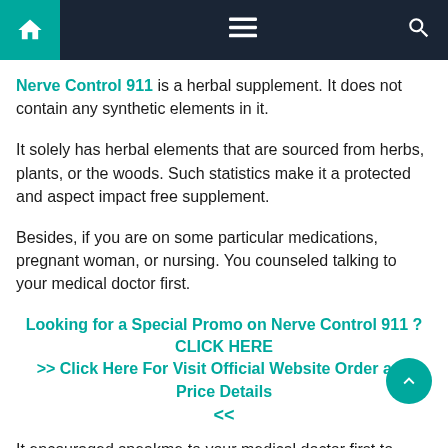Navigation bar with home, menu, and search icons
Nerve Control 911 is a herbal supplement. It does not contain any synthetic elements in it.
It solely has herbal elements that are sourced from herbs, plants, or the woods. Such statistics make it a protected and aspect impact free supplement.
Besides, if you are on some particular medications, pregnant woman, or nursing. You counseled talking to your medical doctor first.
Looking for a Special Promo on Nerve Control 911 ? CLICK HERE >> Click Here For Visit Official Website Order and Price Details <<
It encouraged speakme to your medical doctor first to guarantee that your medicines or situation does now not